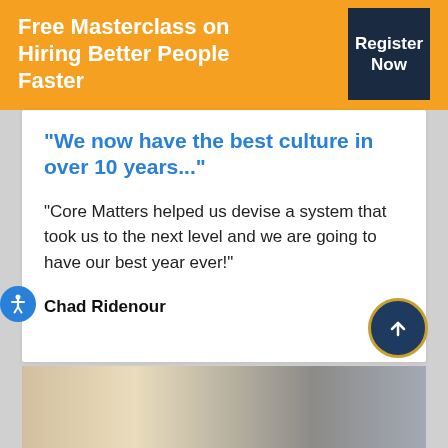Free Masterclass on Hiring Better People Faster
Register Now
"We now have the best culture in over 10 years..."
"Core Matters helped us devise a system that took us to the next level and we are going to have our best year ever!"
Chad Ridenour
[Figure (photo): Bottom portion of a photograph showing a person and some architectural/building elements]